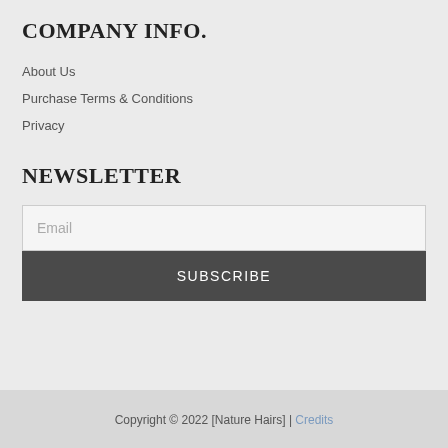COMPANY INFO.
About Us
Purchase Terms & Conditions
Privacy
NEWSLETTER
Email
SUBSCRIBE
Copyright © 2022 [Nature Hairs] | Credits